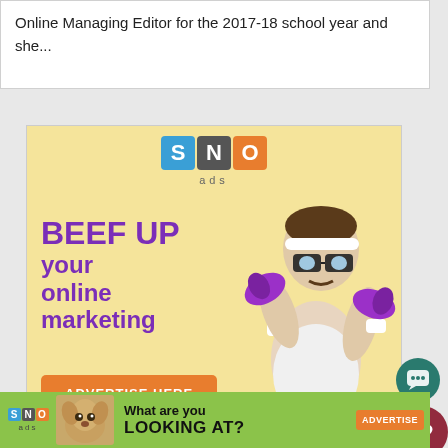Online Managing Editor for the 2017-18 school year and she...
[Figure (infographic): SNO ads advertisement with yellow background. Large purple bold text reads 'BEEF UP your online marketing'. Orange button reads 'ADVERTISE HERE'. Features SNO logo with colored letter blocks and a photo of a man with glasses and dumbbells.]
[Figure (infographic): Bottom banner with green background showing SNO logo, a chihuahua dog image, 'What are you LOOKING AT?' text, and ADVERTISE button.]